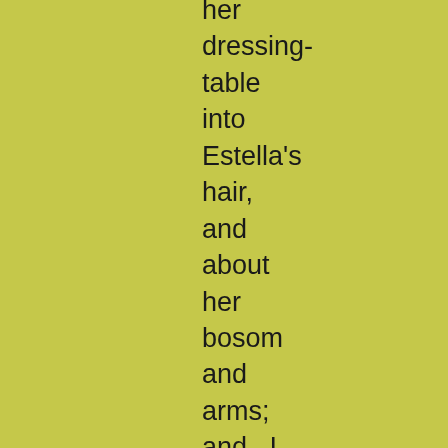her dressing-table into Estella's hair, and about her bosom and arms; and I saw even my guardian look at her